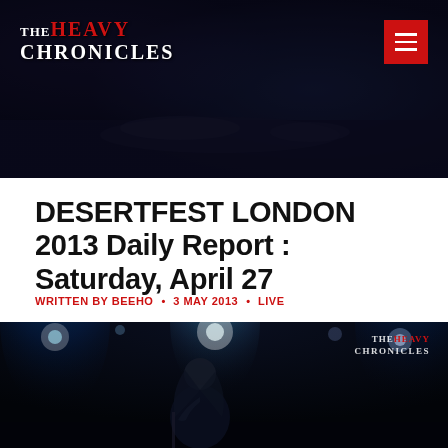The Heavy Chronicles — website header with logo and menu button
DESERTFEST LONDON 2013 Daily Report : Saturday, April 27
WRITTEN BY BEEHO • 3 MAY 2013 • LIVE
[Figure (photo): Concert photo of a long-haired performer singing into a microphone on a dark stage with blue and teal stage lighting, The Heavy Chronicles watermark in top right]